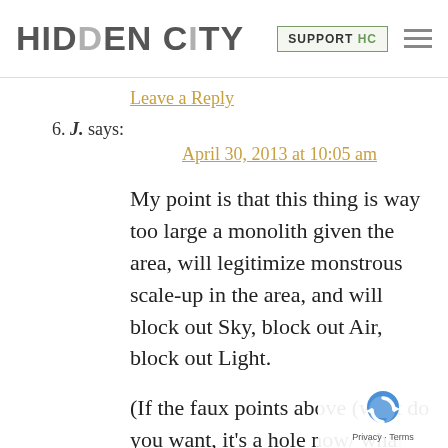HIDDEN CITY | SUPPORT HC
Leave a Reply
6. J. says:
April 30, 2013 at 10:05 am
My point is that this thing is way too large a monolith given the area, will legitimize monstrous scale-up in the area, and will block out Sky, block out Air, block out Light.
(If the faux points above (what do you want, it's a hole now/ what you want, rowhomes) are the best